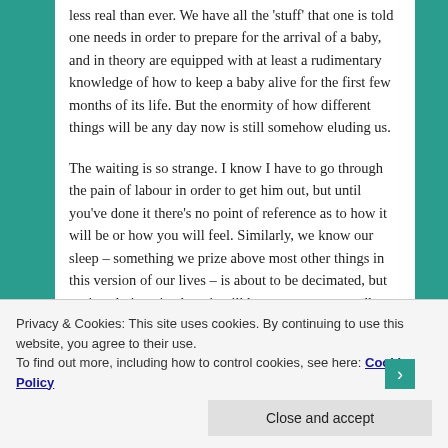less real than ever. We have all the 'stuff' that one is told one needs in order to prepare for the arrival of a baby, and in theory are equipped with at least a rudimentary knowledge of how to keep a baby alive for the first few months of its life. But the enormity of how different things will be any day now is still somehow eluding us.
The waiting is so strange. I know I have to go through the pain of labour in order to get him out, but until you've done it there's no point of reference as to how it will be or how you will feel. Similarly, we know our sleep – something we prize above most other things in this version of our lives – is about to be decimated, but can't truly imagine how it will be to carry on regardless, in the new version of reality we will be crossing into.
Privacy & Cookies: This site uses cookies. By continuing to use this website, you agree to their use.
To find out more, including how to control cookies, see here: Cookie Policy